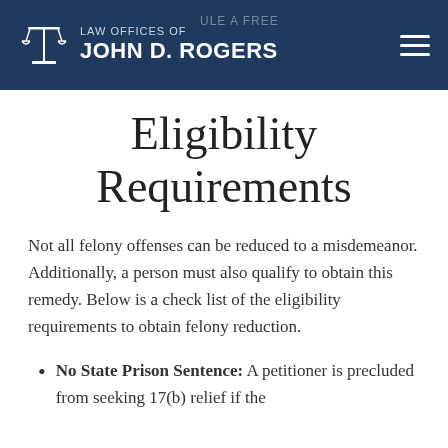LAW OFFICES OF JOHN D. ROGERS
Eligibility Requirements
Not all felony offenses can be reduced to a misdemeanor.  Additionally, a person must also qualify to obtain this remedy.  Below is a check list of the eligibility requirements to obtain felony reduction.
No State Prison Sentence: A petitioner is precluded from seeking 17(b) relief if the